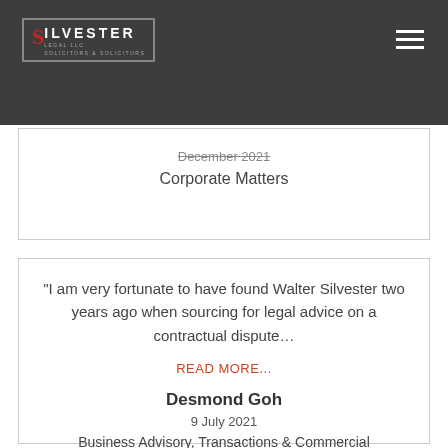Silvester Legal LLC
December 2021
Corporate Matters
"I am very fortunate to have found Walter Silvester two years ago when sourcing for legal advice on a contractual dispute…
READ MORE...
Desmond Goh
9 July 2021
Business Advisory, Transactions & Commercial Agreements